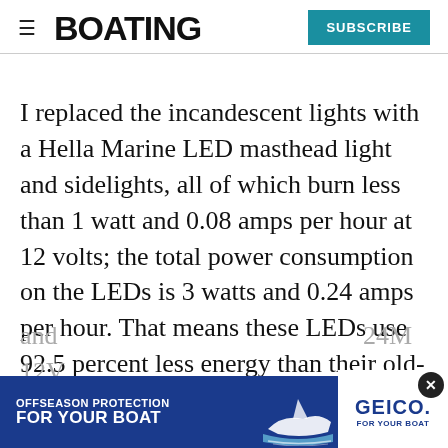BOATING | SUBSCRIBE
I replaced the incandescent lights with a Hella Marine LED masthead light and sidelights, all of which burn less than 1 watt and 0.08 amps per hour at 12 volts; the total power consumption on the LEDs is 3 watts and 0.24 amps per hour. That means these LEDs use 92.5 percent less energy than their old-school predecessors and ... 24M 12V
[Figure (other): GEICO Offseason Protection For Your Boat advertisement banner at bottom of page]